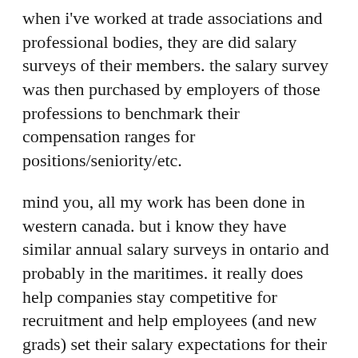when i've worked at trade associations and professional bodies, they are did salary surveys of their members. the salary survey was then purchased by employers of those professions to benchmark their compensation ranges for positions/seniority/etc.
mind you, all my work has been done in western canada. but i know they have similar annual salary surveys in ontario and probably in the maritimes. it really does help companies stay competitive for recruitment and help employees (and new grads) set their salary expectations for their chosen fields. some people make education choices based on seeing the medians of salaries in their field. it can be cost prohibitive to access for most individuals, but i'm happy to share with my staff, their salary ranges and the independent survey res[CLOSE] see how they compare with others in their industry and i know some schools provide summaries to help students